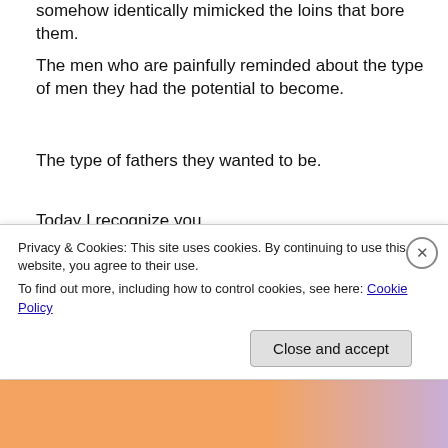somehow identically mimicked the loins that bore them.
The men who are painfully reminded about the type of men they had the potential to become.
The type of fathers they wanted to be.
Today I recognize you.
[Figure (photo): A scanned document with Arabic handwriting at the top, showing what appears to be a name written in Arabic script, and a passport-style photograph of a person below.]
Privacy & Cookies: This site uses cookies. By continuing to use this website, you agree to their use.
To find out more, including how to control cookies, see here: Cookie Policy
Close and accept